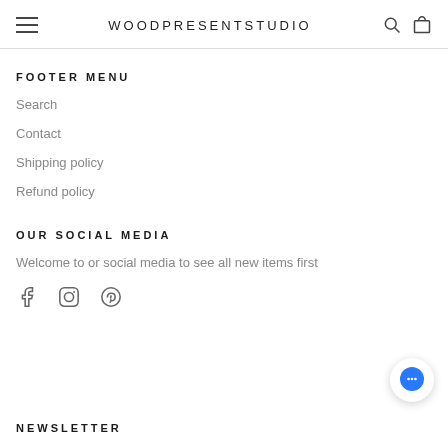WOODPRESENTSTUDIO
FOOTER MENU
Search
Contact
Shipping policy
Refund policy
OUR SOCIAL MEDIA
Welcome to or social media to see all new items first
[Figure (illustration): Social media icons: Facebook, Instagram, Pinterest]
[Figure (illustration): Blue chat bubble button in bottom right corner]
NEWSLETTER